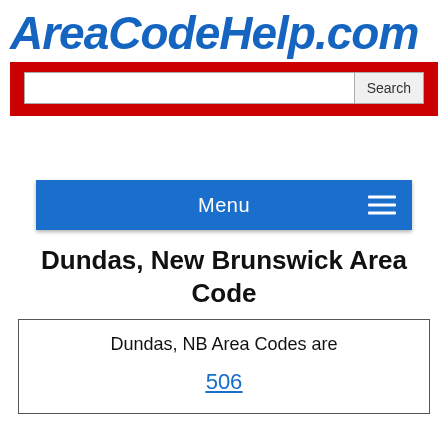AreaCodeHelp.com
[Figure (other): Red search bar with text input and Search button]
[Figure (other): Blue navigation menu bar with Menu text and hamburger icon]
Dundas, New Brunswick Area Code
Dundas, NB Area Codes are
506